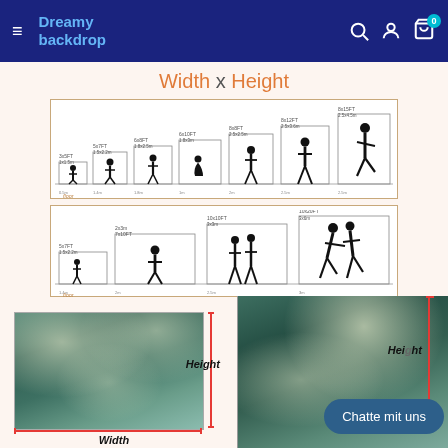Dreamy backdrop
Width x Height
[Figure (infographic): Backdrop size comparison diagram showing various backdrop sizes from 3x5FT to 8x15FT with human silhouettes at different heights: 3x5FT 1x1.5m, 5x7FT 1.5x2.2m, 6x8FT 1.8x2.5m, 6x10FT 1.8x3m, 8x8FT 2.5x2.5m, 8x12FT 2.5x3.6m, 8x15FT 2.5x4.5m]
[Figure (infographic): Second backdrop size comparison diagram showing sizes: 5x7FT 1.5x2.2m, 2x3m 7x10FT, 10x10FT 3x3m, 10x20FT 3x6m with human silhouettes]
[Figure (photo): Floral backdrop photo showing white flowers on teal/green background with Width and Height labels and red measurement brackets]
[Figure (photo): Floral backdrop photo (right half) showing white flowers on teal/green background with Height label and red measurement bracket]
Chatte mit uns